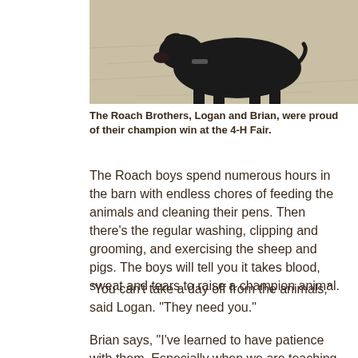[Figure (photo): A black animal (pig or sheep) standing on light-colored straw/bedding, viewed from behind/side. Photo is cropped showing mostly the lower body and hindquarters of the animal.]
The Roach Brothers, Logan and Brian, were proud of their champion win at the 4-H Fair.
The Roach boys spend numerous hours in the barn with endless chores of feeding the animals and cleaning their pens. Then there’s the regular washing, clipping and grooming, and exercising the sheep and pigs. The boys will tell you it takes blood, sweat and tears to raise a champion animal.
“You can’t take a day off from the animals,” said Logan. “They need you.”
Brian says, “I’ve learned to have patience with them. Especially when we are teaching the sheep